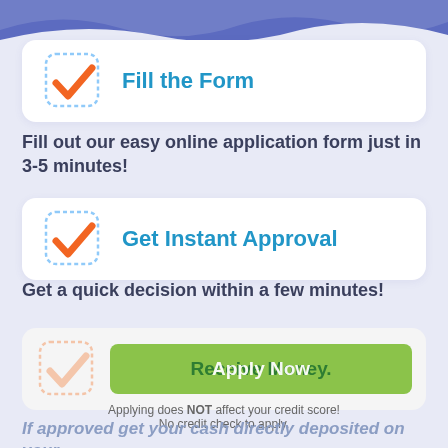[Figure (infographic): Blue wave decorative header background at top of page]
Fill the Form
Fill out our easy online application form just in 3-5 minutes!
Get Instant Approval
Get a quick decision within a few minutes!
Receive Money.
Apply Now
Applying does NOT affect your credit score! No credit check to apply.
If approved get your cash directly deposited on your